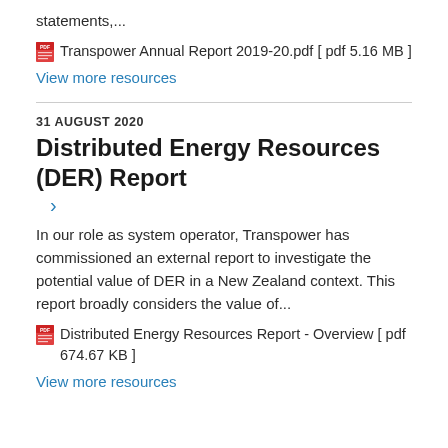statements,...
Transpower Annual Report 2019-20.pdf [ pdf 5.16 MB ]
View more resources
31 AUGUST 2020
Distributed Energy Resources (DER) Report
In our role as system operator, Transpower has commissioned an external report to investigate the potential value of DER in a New Zealand context. This report broadly considers the value of...
Distributed Energy Resources Report - Overview [ pdf 674.67 KB ]
View more resources